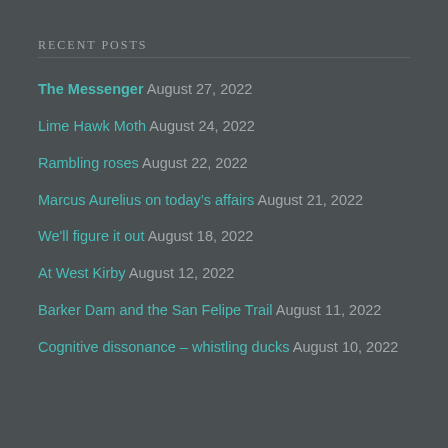RECENT POSTS
The Messenger August 27, 2022
Lime Hawk Moth August 24, 2022
Rambling roses August 22, 2022
Marcus Aurelius on today's affairs August 21, 2022
We'll figure it out August 18, 2022
At West Kirby August 12, 2022
Barker Dam and the San Felipe Trail August 11, 2022
Cognitive dissonance – whistling ducks August 10, 2022